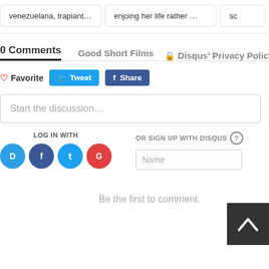venezuelana, trapiantata …
enjoing her life rather …
sc
0 Comments   Good Short Films   🔒 Disqus' Privacy Policy
♡ Favorite   🐦 Tweet   f Share
Start the discussion…
LOG IN WITH
OR SIGN UP WITH DISQUS
Name
Be the first to comment.